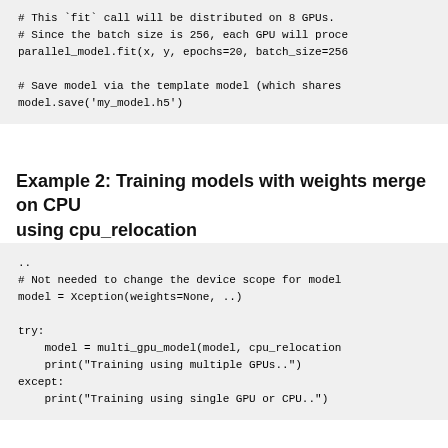# This `fit` call will be distributed on 8 GPUs.
# Since the batch size is 256, each GPU will proce
parallel_model.fit(x, y, epochs=20, batch_size=256

# Save model via the template model (which shares
model.save('my_model.h5')
Example 2: Training models with weights merge on CPU using cpu_relocation
..
# Not needed to change the device scope for model
model = Xception(weights=None, ..)

try:
    model = multi_gpu_model(model, cpu_relocation
    print("Training using multiple GPUs..")
except:
    print("Training using single GPU or CPU..")